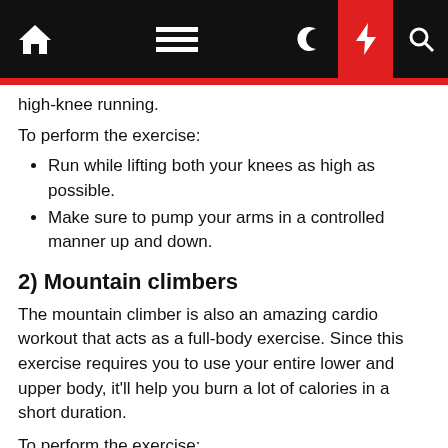Navigation bar with home, menu, moon, bolt, and search icons
high-knee running.
To perform the exercise:
Run while lifting both your knees as high as possible.
Make sure to pump your arms in a controlled manner up and down.
2) Mountain climbers
The mountain climber is also an amazing cardio workout that acts as a full-body exercise. Since this exercise requires you to use your entire lower and upper body, it'll help you burn a lot of calories in a short duration.
To perform the exercise: